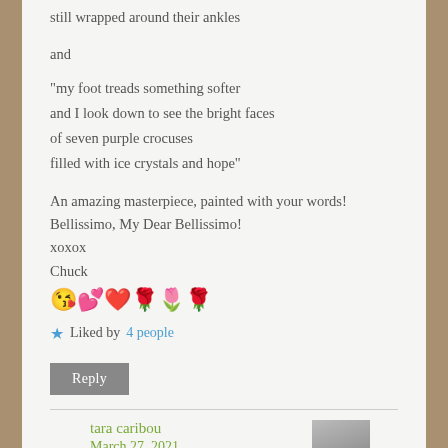still wrapped around their ankles
and
“my foot treads something softer
and I look down to see the bright faces
of seven purple crocuses
filled with ice crystals and hope”
An amazing masterpiece, painted with your words!
Bellissimo, My Dear Bellissimo!
xoxox
Chuck
😘💞❤️🌹🌷
Liked by 4 people
Reply
tara caribou
March 27, 2021